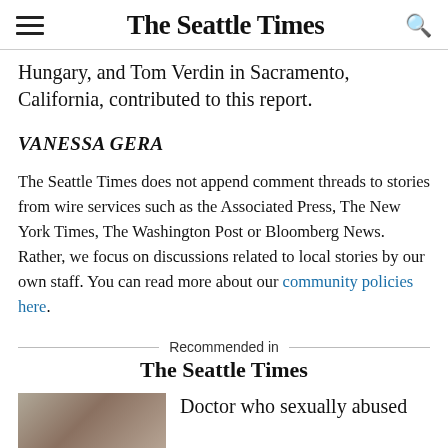The Seattle Times
Hungary, and Tom Verdin in Sacramento, California, contributed to this report.
VANESSA GERA
The Seattle Times does not append comment threads to stories from wire services such as the Associated Press, The New York Times, The Washington Post or Bloomberg News. Rather, we focus on discussions related to local stories by our own staff. You can read more about our community policies here.
Recommended in The Seattle Times
Doctor who sexually abused